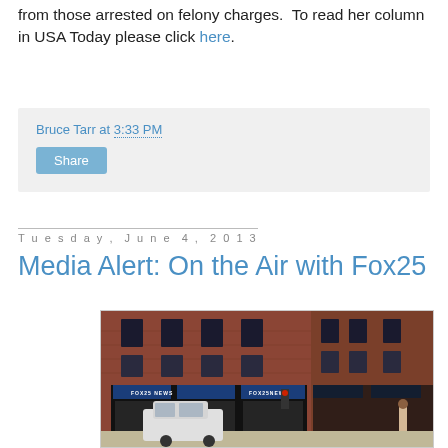from those arrested on felony charges.  To read her column in USA Today please click here.
Bruce Tarr at 3:33 PM
Share
Tuesday, June 4, 2013
Media Alert: On the Air with Fox25
[Figure (photo): Exterior photo of Fox25 News building, a brick building with dark awnings labeled FOX25 NEWS, a white car parked in front, street scene in Boston]